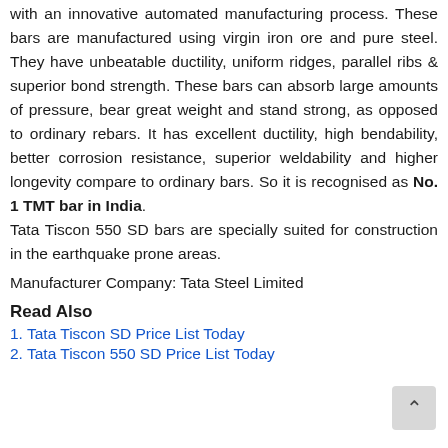with an innovative automated manufacturing process. These bars are manufactured using virgin iron ore and pure steel. They have unbeatable ductility, uniform ridges, parallel ribs & superior bond strength. These bars can absorb large amounts of pressure, bear great weight and stand strong, as opposed to ordinary rebars. It has excellent ductility, high bendability, better corrosion resistance, superior weldability and higher longevity compare to ordinary bars. So it is recognised as No. 1 TMT bar in India. Tata Tiscon 550 SD bars are specially suited for construction in the earthquake prone areas.
Manufacturer Company: Tata Steel Limited
Read Also
1. Tata Tiscon SD Price List Today
2. Tata Tiscon 550 SD Price List Today